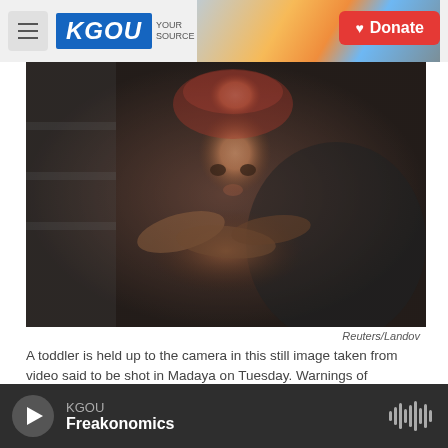KGOU | Your Source | Donate
[Figure (photo): A toddler being held up to the camera, close-up still image taken from video, dark and blurry background]
Reuters/Landov
A toddler is held up to the camera in this still image taken from video said to be shot in Madaya on Tuesday. Warnings of widespread starvation are growing as pro-government forces besiege the opposition-held town in Syria.
Three besieged towns in Syria will soon be receiving humanitarian assistance: The Syrian
KGOU Freakonomics